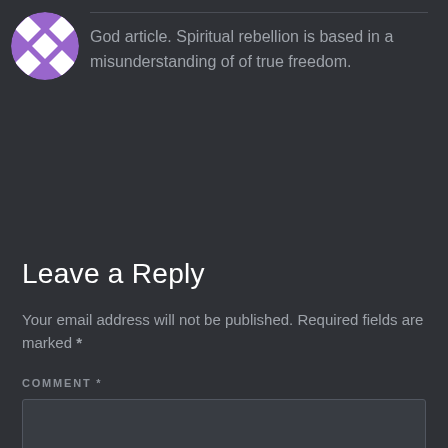[Figure (illustration): Circular avatar with purple and white checkered/diamond pattern on dark background]
God article. Spiritual rebellion is based in a misunderstanding of of true freedom.
Leave a Reply
Your email address will not be published. Required fields are marked *
COMMENT *